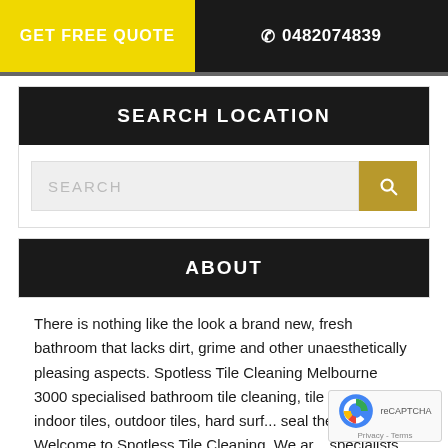GET FREE QUOTE  ☎ 0482074839
SEARCH LOCATION
SEARCH
ABOUT
There is nothing like the look a brand new, fresh bathroom that lacks dirt, grime and other unaesthetically pleasing aspects. Spotless Tile Cleaning Melbourne 3000 specialised bathroom tile cleaning, tile restoration , indoor tiles, outdoor tiles, hard surf... seal the grout lines Welcome to Spotless Tile Cleaning. We ar... specialists in the field of transforming your bathroom into a cleaner,